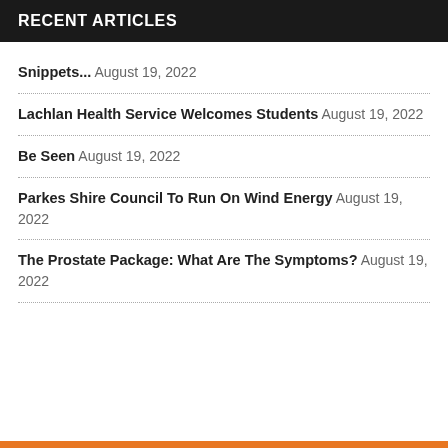RECENT ARTICLES
Snippets... August 19, 2022
Lachlan Health Service Welcomes Students August 19, 2022
Be Seen August 19, 2022
Parkes Shire Council To Run On Wind Energy August 19, 2022
The Prostate Package: What Are The Symptoms? August 19, 2022